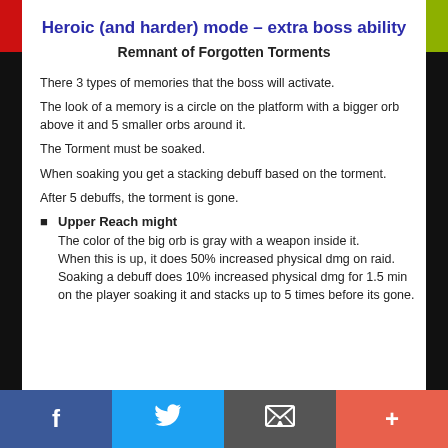Heroic (and harder) mode – extra boss ability
Remnant of Forgotten Torments
There 3 types of memories that the boss will activate.
The look of a memory is a circle on the platform with a bigger orb above it and 5 smaller orbs around it.
The Torment must be soaked.
When soaking you get a stacking debuff based on the torment.
After 5 debuffs, the torment is gone.
Upper Reach might
The color of the big orb is gray with a weapon inside it.
When this is up, it does 50% increased physical dmg on raid.
Soaking a debuff does 10% increased physical dmg for 1.5 min on the player soaking it and stacks up to 5 times before its gone.